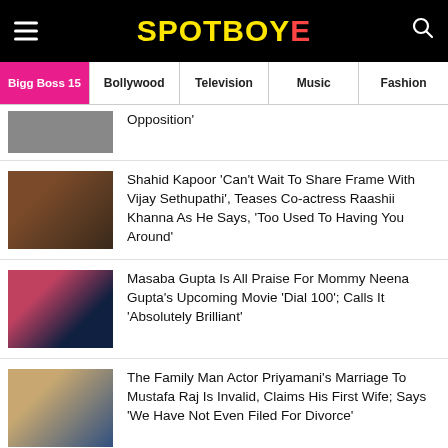SPOTBOYE
Bigg Boss 15 | Bollywood | Television | Music | Fashion
Opposition'
Shahid Kapoor 'Can't Wait To Share Frame With Vijay Sethupathi', Teases Co-actress Raashii Khanna As He Says, 'Too Used To Having You Around'
Masaba Gupta Is All Praise For Mommy Neena Gupta's Upcoming Movie 'Dial 100'; Calls It 'Absolutely Brilliant'
The Family Man Actor Priyamani's Marriage To Mustafa Raj Is Invalid, Claims His First Wife; Says 'We Have Not Even Filed For Divorce'